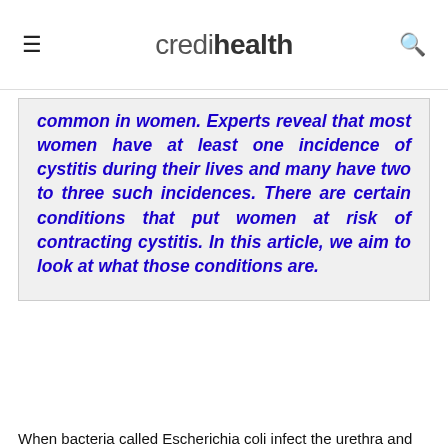credihealth
common in women. Experts reveal that most women have at least one incidence of cystitis during their lives and many have two to three such incidences. There are certain conditions that put women at risk of contracting cystitis. In this article, we aim to look at what those conditions are.
When bacteria called Escherichia coli infect the urethra and